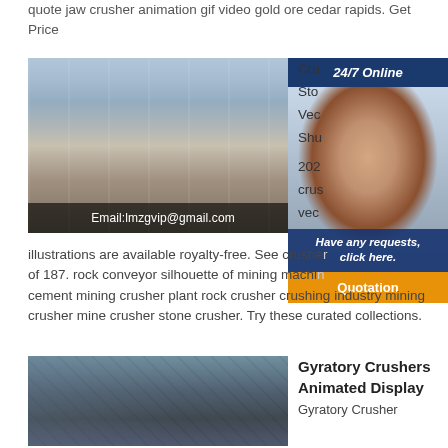quote jaw crusher animation gif video gold ore cedar rapids. Get Price
[Figure (photo): Industrial machinery hall interior with equipment and Email:lmzgvip@gmail.com overlay text]
[Figure (infographic): 24/7 Online chat widget with customer service representative photo and 'Have any requests, click here. Quotation' button]
illustrations are available royalty-free. See crusher of 187. rock conveyor silhouette of mining machines cement mining crusher plant rock crusher crushing industry mining crusher mine crusher stone crusher. Try these curated collections.
[Figure (photo): Outdoor mining conveyor and crusher plant machinery]
Gyratory Crushers Animated Display
Gyratory Crusher